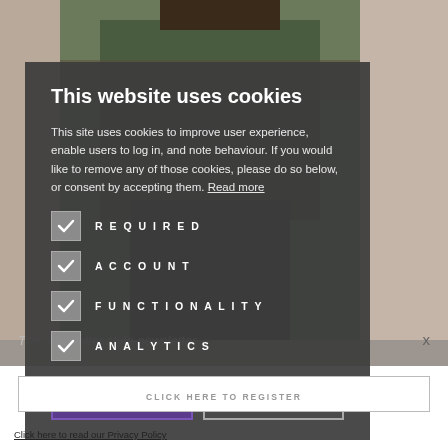[Figure (photo): Background photo of a person in a dark green jacket walking on a sidewalk, partially obscured by the cookie consent overlay]
This website uses cookies
This site uses cookies to improve user experience, enable users to log in, and note behaviour. If you would like to remove any of those cookies, please do so below, or consent by accepting them. Read more
REQUIRED (checked)
ACCOUNT (checked)
FUNCTIONALITY (checked)
ANALYTICS (checked)
ACCEPT ALL
DECLINE ALL
The newsletter style newsletter
x
CLICK HERE TO REGISTER
Click here to read our Privacy Policy